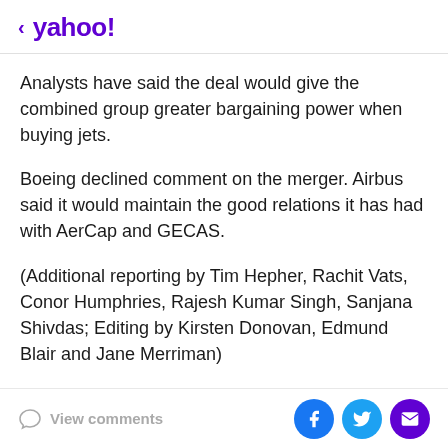< yahoo!
Analysts have said the deal would give the combined group greater bargaining power when buying jets.
Boeing declined comment on the merger. Airbus said it would maintain the good relations it has had with AerCap and GECAS.
(Additional reporting by Tim Hepher, Rachit Vats, Conor Humphries, Rajesh Kumar Singh, Sanjana Shivdas; Editing by Kirsten Donovan, Edmund Blair and Jane Merriman)
View comments